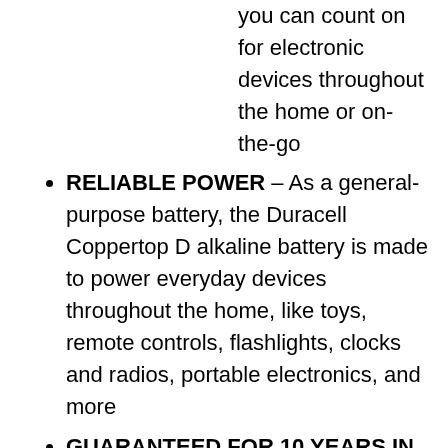you can count on for electronic devices throughout the home or on-the-go
RELIABLE POWER – As a general-purpose battery, the Duracell Coppertop D alkaline battery is made to power everyday devices throughout the home, like toys, remote controls, flashlights, clocks and radios, portable electronics, and more
GUARANTEED FOR 10 YEARS IN STORAGE – Duracell guarantees each Coppertop D alkaline battery